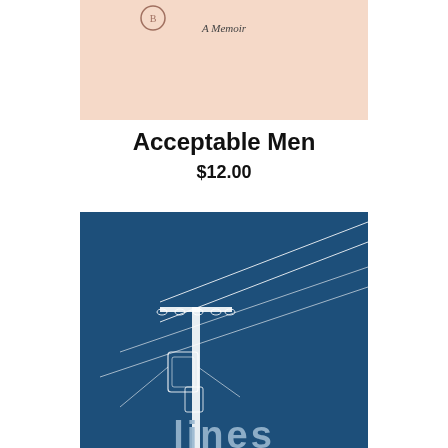[Figure (illustration): Top portion of a book cover with peach/salmon background color, showing a circular icon and italic text 'A Memoir']
Acceptable Men
$12.00
[Figure (illustration): Book cover with dark blue background showing a white line-drawing of a utility power pole with electrical lines extending diagonally. Partial text 'lines' visible at the bottom in light blue bold letters.]